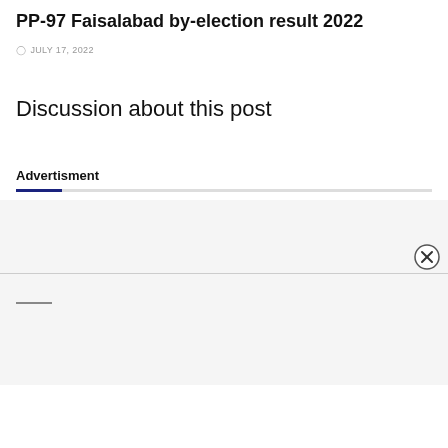PP-97 Faisalabad by-election result 2022
JULY 17, 2022
Discussion about this post
Advertisment